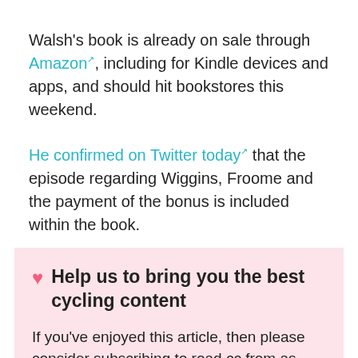Walsh's book is already on sale through Amazon, including for Kindle devices and apps, and should hit bookstores this weekend.
He confirmed on Twitter today that the episode regarding Wiggins, Froome and the payment of the bonus is included within the book.
Help us to bring you the best cycling content
If you've enjoyed this article, then please consider subscribing to road.cc from as little as £1.99. Our mission is to bring you all the news that's relevant to you